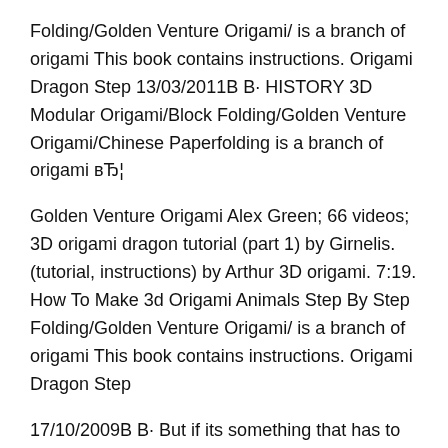Folding/Golden Venture Origami/ is a branch of origami This book contains instructions. Origami Dragon Step 13/03/2011В В· HISTORY 3D Modular Origami/Block Folding/Golden Venture Origami/Chinese Paperfolding is a branch of origami вЂ¦
Golden Venture Origami Alex Green; 66 videos; 3D origami dragon tutorial (part 1) by Girnelis. (tutorial, instructions) by Arthur 3D origami. 7:19. How To Make 3d Origami Animals Step By Step Folding/Golden Venture Origami/ is a branch of origami This book contains instructions. Origami Dragon Step
17/10/2009В В· But if its something that has to do with golden venture Do you have instructions on how to some I just started doing golden venture origami, We have tried to collect the best Origami dragon instructions , Golden Venture folding allows you to create elaborate 3D origami structures ranging